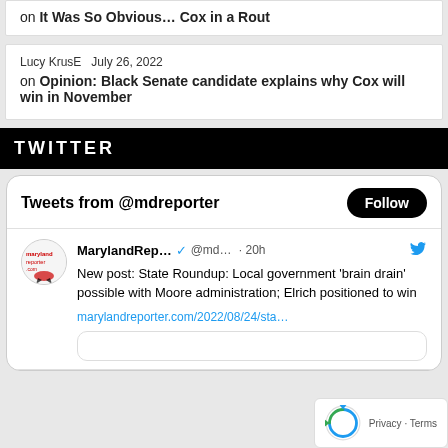on It Was So Obvious… Cox in a Rout
Lucy KrusE July 26, 2022 on Opinion: Black Senate candidate explains why Cox will win in November
TWITTER
Tweets from @mdreporter
MarylandRep... @md... · 20h
New post: State Roundup: Local government 'brain drain' possible with Moore administration; Elrich positioned to win
marylandreporter.com/2022/08/24/sta…